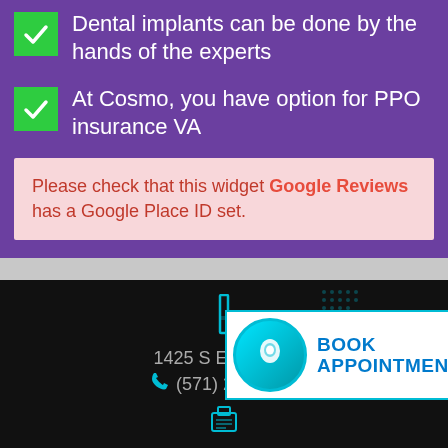Dental implants can be done by the hands of the experts
At Cosmo, you have option for PPO insurance VA
Please check that this widget Google Reviews has a Google Place ID set.
1425 S Eads St A
(571) 210.1111
[Figure (logo): Book Appointment button with teal tooth icon circle]
Privacy · Terms